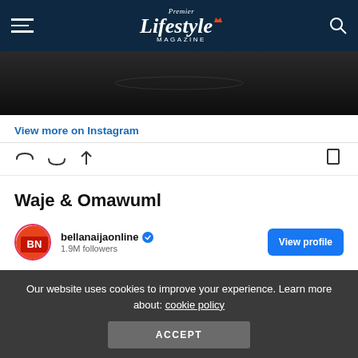Premier Lifestyle Magazine
[Figure (photo): Partial photo of a person wearing a diamond necklace and black outfit, cropped at the top]
View more on Instagram
Waje & Omawuml
[Figure (screenshot): Instagram profile embed showing bellanaijaonline account with verified badge and View profile button]
Our website uses cookies to improve your experience. Learn more about: cookie policy
ACCEPT